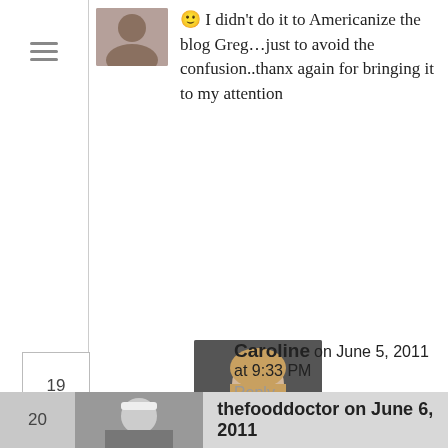😊 I didn't do it to Americanize the blog Greg…just to avoid the confusion..thanx again for bringing it to my attention
Caroline on June 5, 2011 at 9:33 PM
Reply  ★ Like
What an interesting combo, I've never tried yogurt with mint, let alone used it in a pasta dish. I made a Greek yogurt sauce with cumin and coriander for fajitas and it turned out fantastic. I'll have to give this a try sometime. Sounds delicious!
thefooddoctor on June 6, 2011